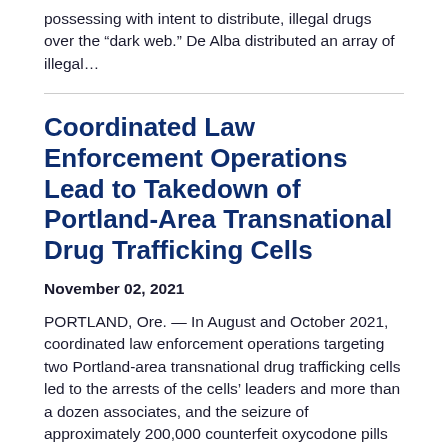possessing with intent to distribute, illegal drugs over the “dark web.” De Alba distributed an array of illegal…
Coordinated Law Enforcement Operations Lead to Takedown of Portland-Area Transnational Drug Trafficking Cells
November 02, 2021
PORTLAND, Ore. — In August and October 2021, coordinated law enforcement operations targeting two Portland-area transnational drug trafficking cells led to the arrests of the cells’ leaders and more than a dozen associates, and the seizure of approximately 200,000 counterfeit oxycodone pills suspected to